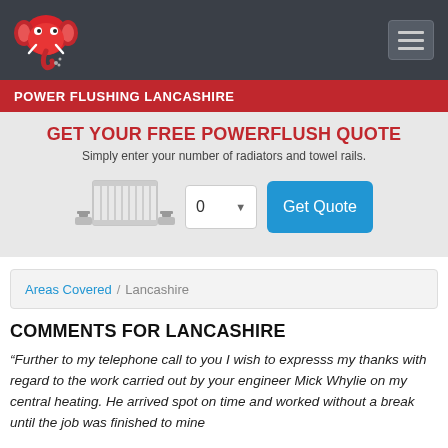[Figure (logo): Red elephant logo for Power Flushing Lancashire website]
POWER FLUSHING LANCASHIRE
GET YOUR FREE POWERFLUSH QUOTE
Simply enter your number of radiators and towel rails.
[Figure (illustration): Illustration of a radiator with valves on both sides]
0  Get Quote
Areas Covered / Lancashire
COMMENTS FOR LANCASHIRE
“Further to my telephone call to you I wish to expresss my thanks with regard to the work carried out by your engineer Mick Whylie on my central heating. He arrived spot on time and worked without a break until the job was finished to mine